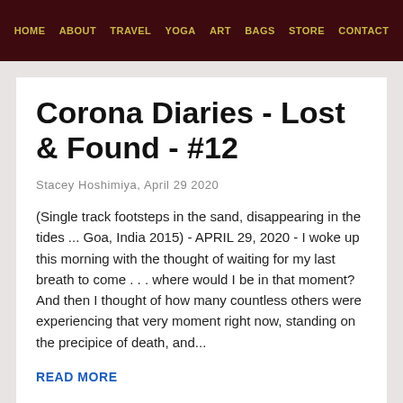HOME   ABOUT   TRAVEL   YOGA   ART   BAGS   STORE   CONTACT
Corona Diaries - Lost & Found - #12
Stacey Hoshimiya, April 29 2020
(Single track footsteps in the sand, disappearing in the tides ... Goa, India 2015) - APRIL 29, 2020 - I woke up this morning with the thought of waiting for my last breath to come . . . where would I be in that moment? And then I thought of how many countless others were experiencing that very moment right now, standing on the precipice of death, and...
READ MORE